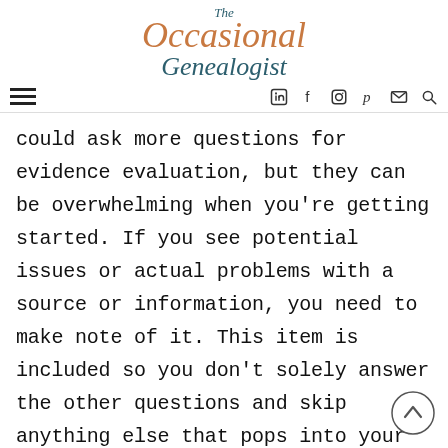The Occasional Genealogist
could ask more questions for evidence evaluation, but they can be overwhelming when you’re getting started. If you see potential issues or actual problems with a source or information, you need to make note of it. This item is included so you don’t solely answer the other questions and skip anything else that pops into your mind.